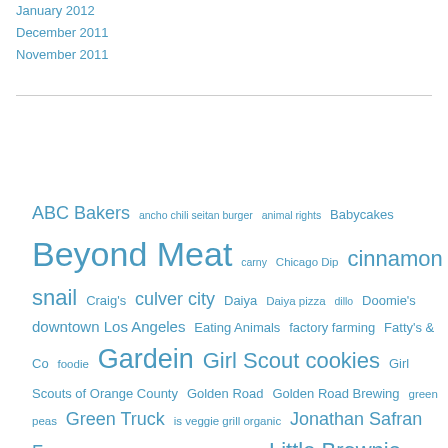January 2012
December 2011
November 2011
[Figure (other): Tag cloud of vegan food blog topics including Los Angeles, vegan, Beyond Meat, Native Foods, Gardein, Little Brownie, Girl Scout cookies, and many others]
ABC Bakers ancho chili seitan burger animal rights Babycakes Beyond Meat carny Chicago Dip cinnamon snail Craig's culver city Daiya Daiya pizza dillo Doomie's downtown Los Angeles Eating Animals factory farming Fatty's & Co foodie Gardein Girl Scout cookies Girl Scouts of Orange County Golden Road Golden Road Brewing green peas Green Truck is veggie grill organic Jonathan Safran Foer LA Weekly leather Lemonades Little Brownie Little Brownie Bakers Los Angeles Madeleine Bistro Mandoline Grill Mark Bittman meat Mohawk Bend Mother Trucker Vegan Burger Native Foods Native Foods Café New York Times Peanut Butter Patties Peter Singer Pure Luck Quarrygirl Sage Vegan Bistro Seabirds Truck Shout Outs suffrage Thin Mints UCLA vegan vegan vegan bakery vegan chicken vegan chili vegan